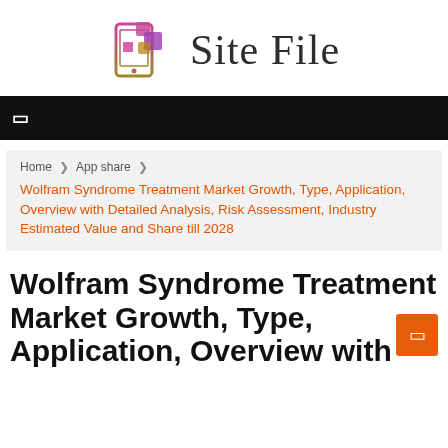[Figure (logo): Site File logo with stylized mobile/tablet icon in pink/purple/gold gradient and large serif text 'Site File']
Navigation bar with menu icon
Home ▸ App share ▸
Wolfram Syndrome Treatment Market Growth, Type, Application, Overview with Detailed Analysis, Risk Assessment, Industry Estimated Value and Share till 2028
Wolfram Syndrome Treatment Market Growth, Type, Application, Overview with